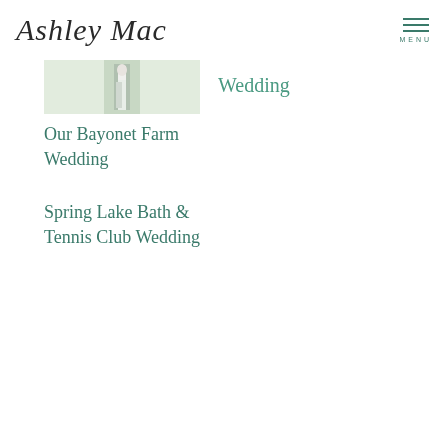Ashley Mac
[Figure (photo): Small thumbnail photo of a wedding scene with a person in white dress]
Wedding
Our Bayonet Farm Wedding
Spring Lake Bath & Tennis Club Wedding